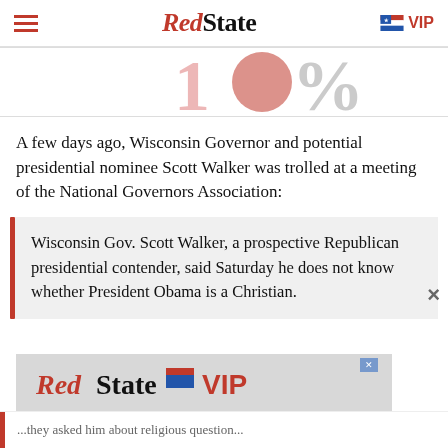RedState | VIP
[Figure (infographic): Partial image showing large '10%' style text in red/gray, cropped at top]
A few days ago, Wisconsin Governor and potential presidential nominee Scott Walker was trolled at a meeting of the National Governors Association:
Wisconsin Gov. Scott Walker, a prospective Republican presidential contender, said Saturday he does not know whether President Obama is a Christian.
[Figure (screenshot): RedState VIP advertisement banner at bottom of page]